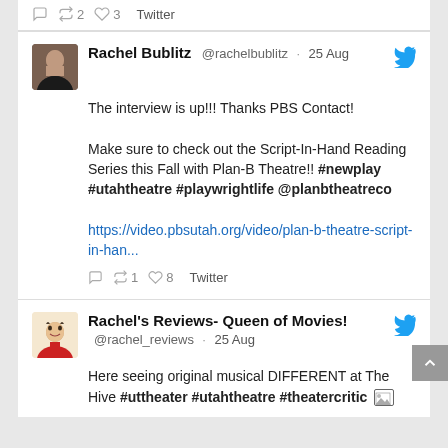2  3  Twitter
Rachel Bublitz @rachelbublitz · 25 Aug
The interview is up!!! Thanks PBS Contact!

Make sure to check out the Script-In-Hand Reading Series this Fall with Plan-B Theatre!! #newplay #utahtheatre #playwrightlife @planbtheatreco

https://video.pbsutah.org/video/plan-b-theatre-script-in-han...

1  8  Twitter
Rachel's Reviews- Queen of Movies! @rachel_reviews · 25 Aug
Here seeing original musical DIFFERENT at The Hive #uttheater #utahtheatre #theatercritic [image]